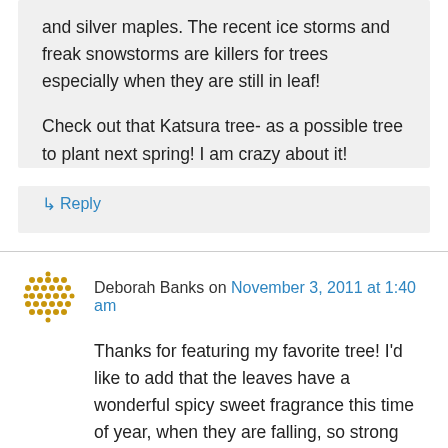and silver maples. The recent ice storms and freak snowstorms are killers for trees especially when they are still in leaf!
Check out that Katsura tree- as a possible tree to plant next spring! I am crazy about it!
↳ Reply
Deborah Banks on November 3, 2011 at 1:40 am
Thanks for featuring my favorite tree! I'd like to add that the leaves have a wonderful spicy sweet fragrance this time of year, when they are falling, so strong you can smell it up the road a piece. And a small warning: this is a moderate to